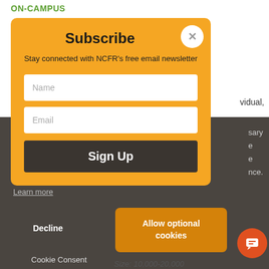ON-CAMPUS
[Figure (screenshot): Subscribe modal overlay on an education website showing a newsletter signup form with Name and Email fields and Sign Up button, over a dark background with cookie consent bar]
Stay connected with NCFR's free email newsletter
Decline
Allow optional cookies
Cookie Consent
Size:  10,000-20,000